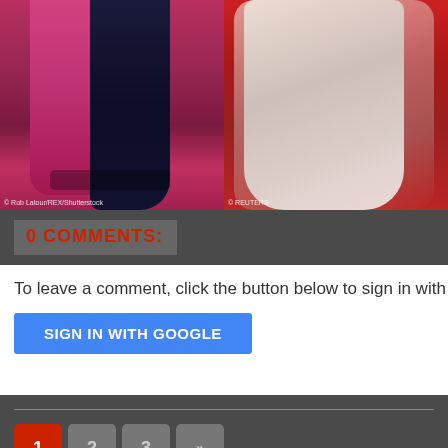[Figure (photo): Two red carpet photos side by side: left shows lower half of two women in magenta/pink dress and navy dress with heels, credited to Rob Latour/REX/Shutterstock; right shows lower half of woman in white/cream tulle dress on red carpet, credited to REUTERS.]
0 COMMENTS:
To leave a comment, click the button below to sign in with G
SIGN IN WITH GOOGLE
1 2 3 »